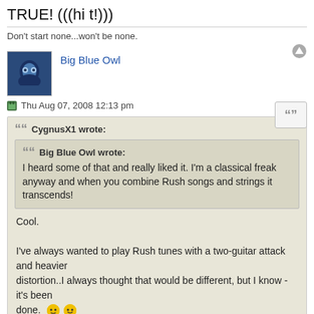TRUE! (((hi t!)))
Don't start none...won't be none.
Big Blue Owl
Thu Aug 07, 2008 12:13 pm
CygnusX1 wrote:
Big Blue Owl wrote: I heard some of that and really liked it. I'm a classical freak anyway and when you combine Rush songs and strings it transcends!
Cool.

I've always wanted to play Rush tunes with a two-guitar attack and heavier
distortion..I always thought that would be different, but I know - it's been
done.